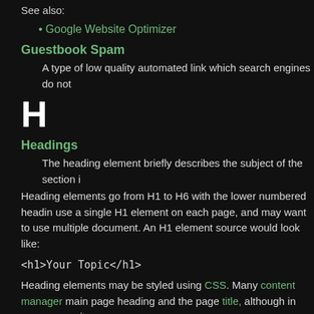See also:
Google Website Optimizer
Guestbook Spam
A type of low quality automated link which search engines do not
H
Headings
The heading element briefly describes the subject of the section i
Heading elements go from H1 to H6 with the lower numbered headin use a single H1 element on each page, and may want to use multiple document. An H1 element source would look like:
<h1>Your Topic</h1>
Heading elements may be styled using CSS. Many content manager main page heading and the page title, although in many cases it may
See also: